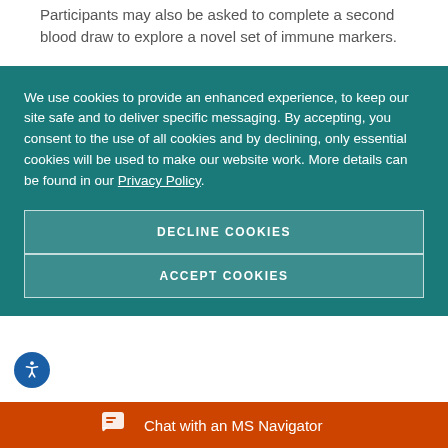Participants may also be asked to complete a second blood draw to explore a novel set of immune markers.
We use cookies to provide an enhanced experience, to keep our site safe and to deliver specific messaging. By accepting, you consent to the use of all cookies and by declining, only essential cookies will be used to make our website work. More details can be found in our Privacy Policy.
DECLINE COOKIES
ACCEPT COOKIES
Chat with an MS Navigator